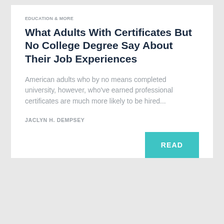EDUCATION & MORE
What Adults With Certificates But No College Degree Say About Their Job Experiences
American adults who by no means completed university, however, who've earned professional certificates are much more likely to be hired...
JACLYN H. DEMPSEY
READ